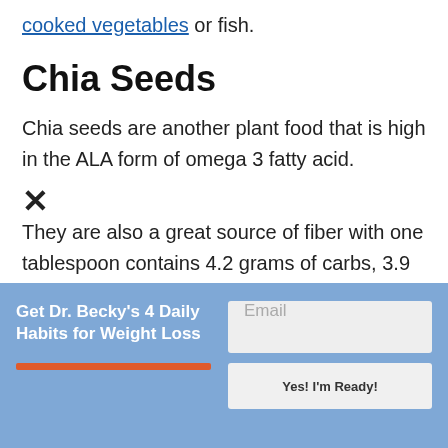cooked vegetables or fish.
Chia Seeds
Chia seeds are another plant food that is high in the ALA form of omega 3 fatty acid.
They are also a great source of fiber with one tablespoon contains 4.2 grams of carbs, 3.9 grams of fiber...
Get Dr. Becky's 4 Daily Habits for Weight Loss